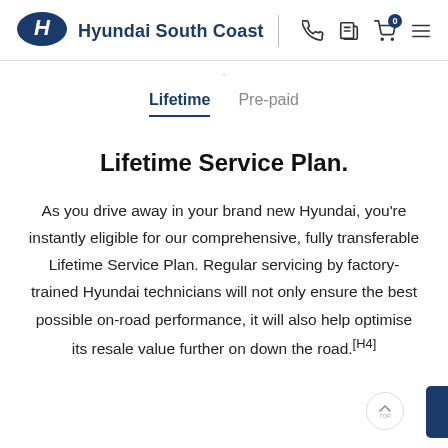Hyundai South Coast
Lifetime | Pre-paid
Lifetime Service Plan.
As you drive away in your brand new Hyundai, you're instantly eligible for our comprehensive, fully transferable Lifetime Service Plan. Regular servicing by factory-trained Hyundai technicians will not only ensure the best possible on-road performance, it will also help optimise its resale value further on down the road.[H4]